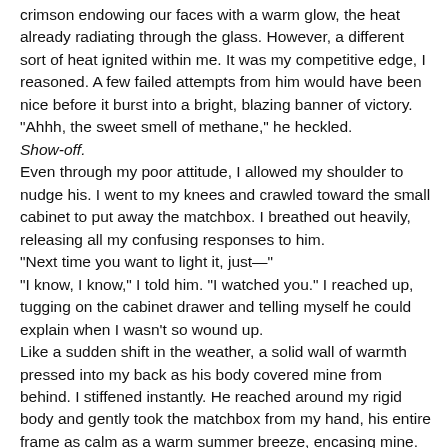crimson endowing our faces with a warm glow, the heat already radiating through the glass. However, a different sort of heat ignited within me. It was my competitive edge, I reasoned. A few failed attempts from him would have been nice before it burst into a bright, blazing banner of victory. "Ahhh, the sweet smell of methane," he heckled. Show-off. Even through my poor attitude, I allowed my shoulder to nudge his. I went to my knees and crawled toward the small cabinet to put away the matchbox. I breathed out heavily, releasing all my confusing responses to him. "Next time you want to light it, just—" "I know, I know," I told him. "I watched you." I reached up, tugging on the cabinet drawer and telling myself he could explain when I wasn't so wound up. Like a sudden shift in the weather, a solid wall of warmth pressed into my back as his body covered mine from behind. I stiffened instantly. He reached around my rigid body and gently took the matchbox from my hand, his entire frame as calm as a warm summer breeze, encasing mine. As he leaned forward, putting the matchbox in the bag and placing it in the cabinet, his words teased softly in my ear, "he...